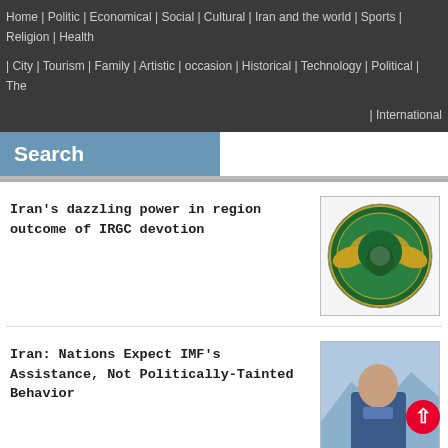Home | Politic | Economical | Social | Cultural | Iran and the world | Sports | Religion | Health
| City | Tourism | Family | Artistic | occasion | Historical | Technology | Political | The
| International
Search
Iran's dazzling power in region outcome of IRGC devotion
[Figure (logo): IRGC emblem logo - circular green emblem with yellow crescent and eagle]
Iran: Nations Expect IMF’s Assistance, Not Politically-Tainted Behavior
[Figure (photo): Photo of a man in blue shirt against blurred background]
Website of newspaper 'Iran' blocked by US Treasury Department
[Figure (photo): Photo showing tablets/devices on desk with person in background]
Defense Minister: Iran monitoring regional events with